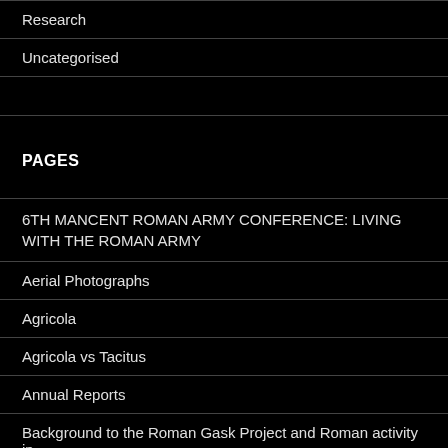Research
Uncategorised
PAGES
6TH MANCENT ROMAN ARMY CONFERENCE: LIVING WITH THE ROMAN ARMY
Aerial Photographs
Agricola
Agricola vs Tacitus
Annual Reports
Background to the Roman Gask Project and Roman activity in